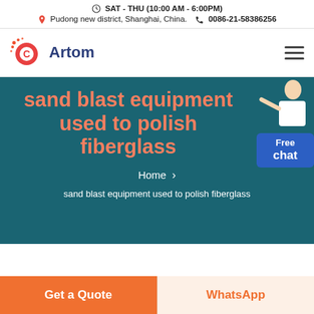SAT - THU (10:00 AM - 6:00PM)
Pudong new district, Shanghai, China.  0086-21-58386256
[Figure (logo): Cartom logo: orange/red C with dots and blue 'Artom' text]
sand blast equipment used to polish fiberglass
Home > sand blast equipment used to polish fiberglass
Get a Quote
WhatsApp